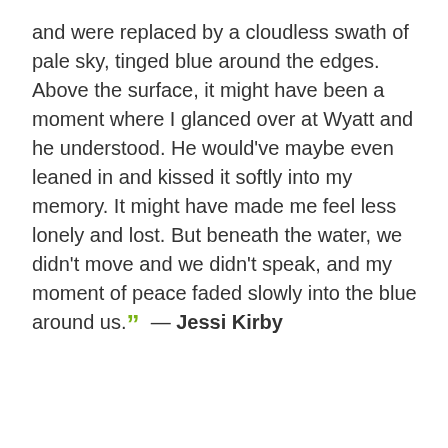and were replaced by a cloudless swath of pale sky, tinged blue around the edges. Above the surface, it might have been a moment where I glanced over at Wyatt and he understood. He would've maybe even leaned in and kissed it softly into my memory. It might have made me feel less lonely and lost. But beneath the water, we didn't move and we didn't speak, and my moment of peace faded slowly into the blue around us. ” — Jessi Kirby